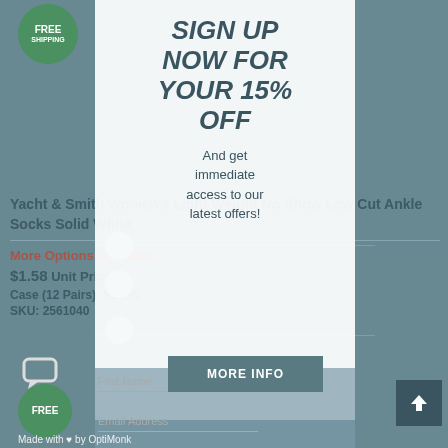[Figure (other): Green FREE SHIPPING circular badge top-left]
SIGN UP NOW FOR YOUR 15% OFF
And get immediate access to our latest offers!
Yacht & Smith Women's Light Weight No Show Low Cut Ankle Socks Solid White
More Options Available
$1.58 Unit Price
Case (12 Pairs): $18.96
SKU: 2561040
First Name
MORE INFO
Email Address
Made with ♥ by OptiMonk